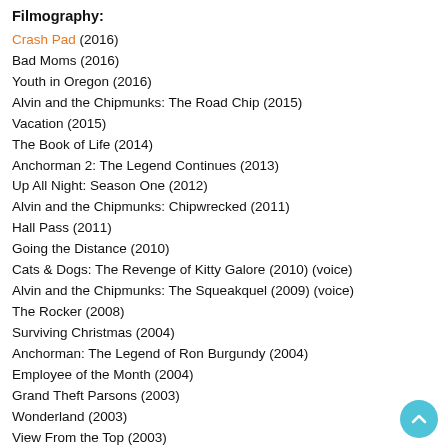Filmography:
Crash Pad (2016)
Bad Moms (2016)
Youth in Oregon (2016)
Alvin and the Chipmunks: The Road Chip (2015)
Vacation (2015)
The Book of Life (2014)
Anchorman 2: The Legend Continues (2013)
Up All Night: Season One (2012)
Alvin and the Chipmunks: Chipwrecked (2011)
Hall Pass (2011)
Going the Distance (2010)
Cats & Dogs: The Revenge of Kitty Galore (2010) (voice)
Alvin and the Chipmunks: The Squeakquel (2009) (voice)
The Rocker (2008)
Surviving Christmas (2004)
Anchorman: The Legend of Ron Burgundy (2004)
Employee of the Month (2004)
Grand Theft Parsons (2003)
Wonderland (2003)
View From the Top (2003)
The Sweetest Thing (2002)
Just Visiting (2001)